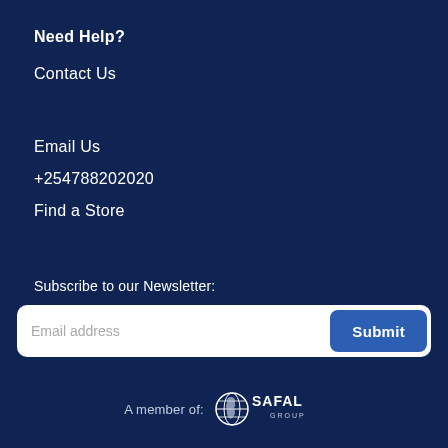Need Help?
Contact Us
Email Us
+254788202020
Find a Store
Subscribe to our Newsletter:
Email address
Submit
A member of:
[Figure (logo): Safal Group logo - globe with Africa outline and SAFAL GROUP text]